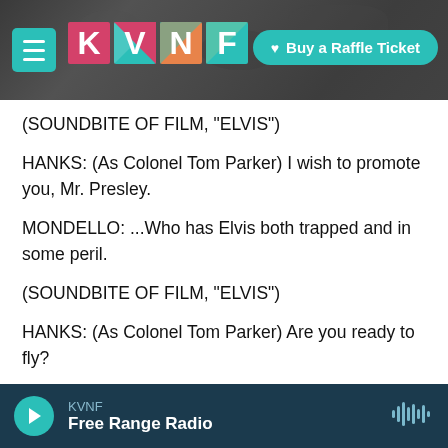KVNF | Buy a Raffle Ticket
(SOUNDBITE OF FILM, "ELVIS")
HANKS: (As Colonel Tom Parker) I wish to promote you, Mr. Presley.
MONDELLO: ...Who has Elvis both trapped and in some peril.
(SOUNDBITE OF FILM, "ELVIS")
HANKS: (As Colonel Tom Parker) Are you ready to fly?
BUTLER: (As Elvis) I'm ready, ready to fly
KVNF Free Range Radio